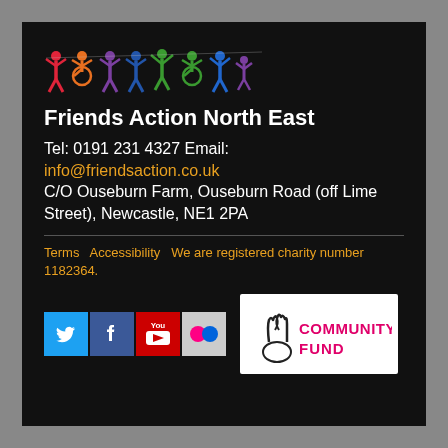[Figure (logo): Friends Action North East logo: colorful silhouettes of people holding hands in a chain, including figures in wheelchairs, in red, yellow, green, blue, and purple]
Friends Action North East
Tel: 0191 231 4327 Email: info@friendsaction.co.uk
C/O Ouseburn Farm, Ouseburn Road (off Lime Street), Newcastle, NE1 2PA
Terms   Accessibility   We are registered charity number 1182364.
[Figure (logo): Social media icons: Twitter (blue bird), Facebook (blue f), YouTube (red play button), Flickr (colored dots)]
[Figure (logo): National Lottery Community Fund logo: hand with crossed fingers and text COMMUNITY FUND]